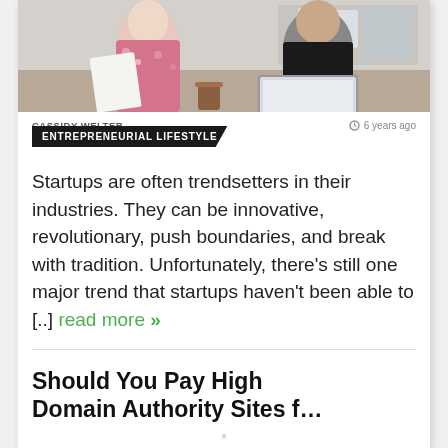[Figure (photo): Two people in an office/workspace setting, one holding papers and one at a laptop]
CASSIDY WELTER
6 years ago
ENTREPRENEURIAL LIFESTYLE
Startups are often trendsetters in their industries. They can be innovative, revolutionary, push boundaries, and break with tradition. Unfortunately, there's still one major trend that startups haven't been able to [..] read more »
Should You Pay High Domain Authority Sites f…